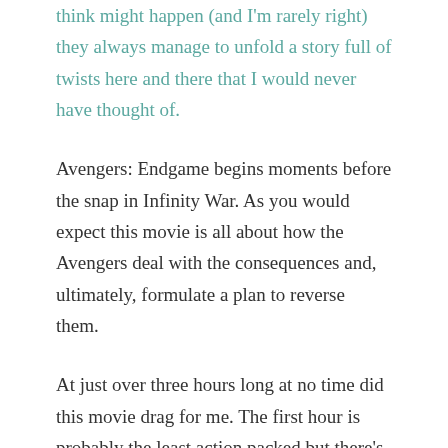think might happen (and I'm rarely right) they always manage to unfold a story full of twists here and there that I would never have thought of.
Avengers: Endgame begins moments before the snap in Infinity War. As you would expect this movie is all about how the Avengers deal with the consequences and, ultimately, formulate a plan to reverse them.
At just over three hours long at no time did this movie drag for me. The first hour is probably the least action packed but there's so much story and so many characters that you're never in any scene long enough for it to wear thin. The story is pretty much moving forward all the time.
As well, it is interesting to see a post snap Earth, and to